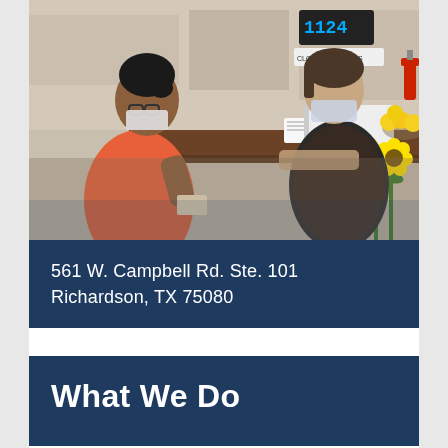[Figure (photo): Two women at a store checkout counter, both wearing masks. The customer on the left wears a coral/orange top and is looking at papers. The cashier on the right wears a dark vest. Yellow flowers in foreground, store shelving in background.]
561 W. Campbell Rd. Ste. 101
Richardson, TX 75080
What We Do